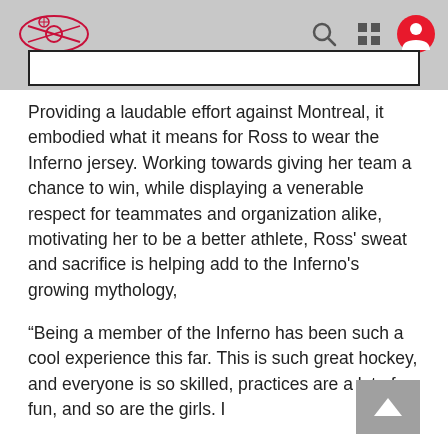[Figure (screenshot): Website header/navigation bar with red top stripe, a team logo (Calgary Inferno) on the left, search icon, grid icon, and red circular user icon on the right. A white search input box with black border is below.]
Providing a laudable effort against Montreal, it embodied what it means for Ross to wear the Inferno jersey. Working towards giving her team a chance to win, while displaying a venerable respect for teammates and organization alike, motivating her to be a better athlete, Ross' sweat and sacrifice is helping add to the Inferno's growing mythology,
“Being a member of the Inferno has been such a cool experience this far. This is such great hockey, and everyone is so skilled, practices are a lot of fun, and so are the girls. I